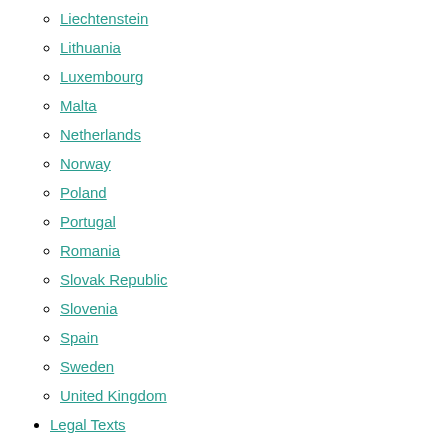Liechtenstein
Lithuania
Luxembourg
Malta
Netherlands
Norway
Poland
Portugal
Romania
Slovak Republic
Slovenia
Spain
Sweden
United Kingdom
Legal Texts
Resources
Case studies